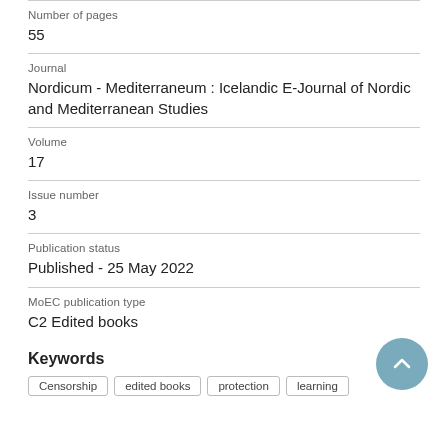Number of pages
55
Journal
Nordicum - Mediterraneum : Icelandic E-Journal of Nordic and Mediterranean Studies
Volume
17
Issue number
3
Publication status
Published - 25 May 2022
MoEC publication type
C2 Edited books
Keywords
Censorship
edited books
protection
learning